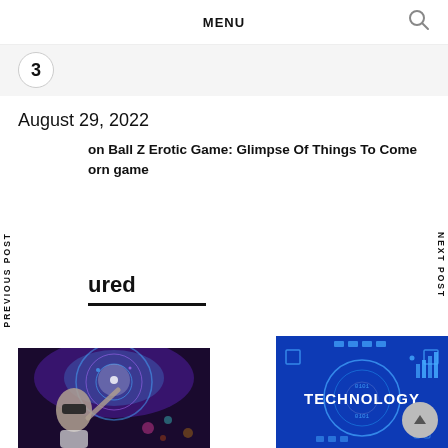MENU
3
August 29, 2022
on Ball Z Erotic Game: Glimpse Of Things To Come
orn game
PREVIOUS POST
NEXT POST
ured
[Figure (photo): Person wearing VR headset with colorful light effects]
[Figure (photo): Blue technology concept image with the word TECHNOLOGY in bold white text and circuit HUD overlay graphics]